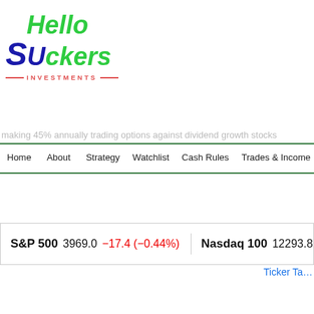[Figure (logo): Hello SUckers Investments logo with green and dark blue stylized text]
making 45% annually trading options against dividend growth stocks
Home
About
Strategy
Watchlist
Cash Rules
Trades & Income
S&P 500  3969.0  −17.4 (−0.44%)  Nasdaq 100  12293.8...
Ticker Ta...